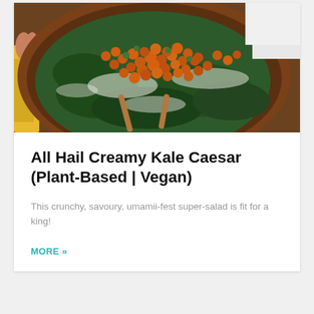[Figure (photo): Overhead photo of a kale Caesar salad in a large wooden bowl, topped with crispy golden chickpeas, creamy white dressing, wooden serving spoons visible, yellow cloth and hands visible at edges.]
All Hail Creamy Kale Caesar (Plant-Based | Vegan)
This crunchy, savoury, umamii-fest super-salad is fit for a king!
MORE »